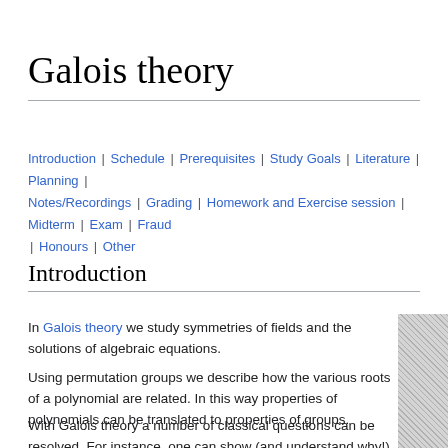Galois theory
Introduction | Schedule | Prerequisites | Study Goals | Literature | Planning | Notes/Recordings | Grading | Homework and Exercise session | Midterm | Exam | Fraud | Honours | Other
Introduction
In Galois theory we study symmetries of fields and the solutions of algebraic equations.
Using permutation groups we describe how the various roots of a polynomial are related. In this way properties of polynomials can be translated to properties of groups.
With Galois theory a number of classical questions can be resolved. For instance, one can show (and understand why!) the polynomial
[Figure (photo): Partial portrait photograph of a person, cropped on the right side of the page]